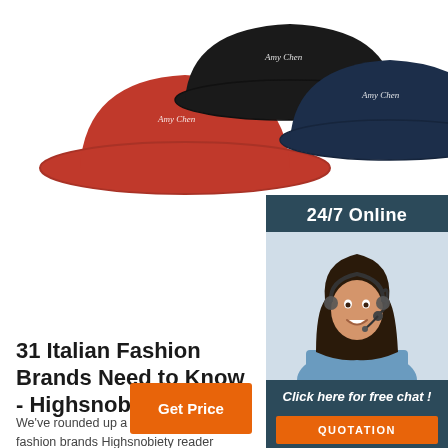[Figure (photo): Three bucket hats in red, black, and navy blue colors with a brand script logo, displayed on a white background.]
[Figure (infographic): 24/7 Online customer service widget with a photo of a smiling woman with a headset microphone, a 'Click here for free chat!' message, and an orange QUOTATION button.]
31 Italian Fashion Brands Need to Know - Highsnob
We've rounded up a list of 31 Italian fashion brands Highsnobiety reader needs to know, from high fashion through to street-level apparel.
[Figure (other): Orange 'Get Price' button]
[Figure (logo): Orange dotted triangle TOP icon with 'TOP' text below it in orange]